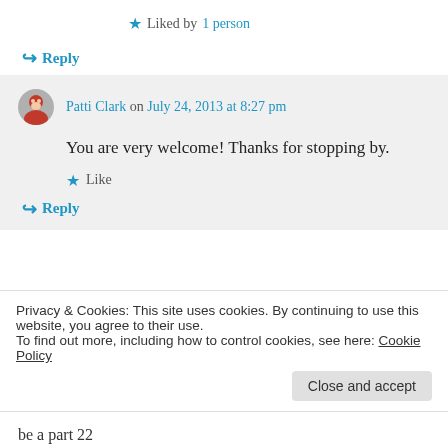★ Liked by 1 person
↪ Reply
Patti Clark on July 24, 2013 at 8:27 pm
You are very welcome! Thanks for stopping by.
★ Like
↪ Reply
Privacy & Cookies: This site uses cookies. By continuing to use this website, you agree to their use. To find out more, including how to control cookies, see here: Cookie Policy
Close and accept
be a part 22